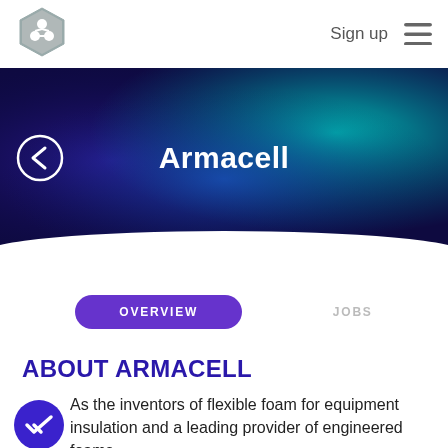[Figure (logo): Hexagonal logo with three connected circles (molecule-like), grey color]
Sign up
[Figure (illustration): Hamburger menu icon with three horizontal lines]
[Figure (illustration): Hero banner with dark blue to teal gradient background, back arrow button on left, title 'Armacell' centered in white bold text]
Armacell
OVERVIEW
JOBS
ABOUT ARMACELL
As the inventors of flexible foam for equipment insulation and a leading provider of engineered foams, Armacell has been one of the world's most important